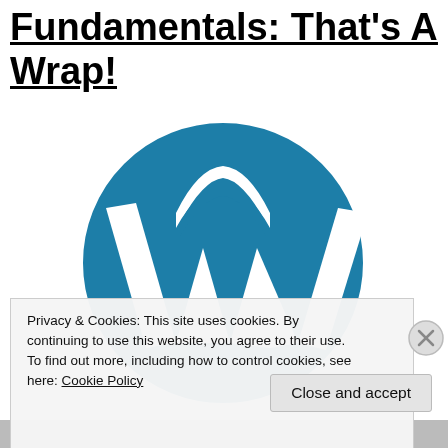Fundamentals: That's A Wrap!
[Figure (logo): WordPress logo — large teal/blue circular logo with stylized W letterform in white on teal background]
Privacy & Cookies: This site uses cookies. By continuing to use this website, you agree to their use.
To find out more, including how to control cookies, see here: Cookie Policy
Close and accept